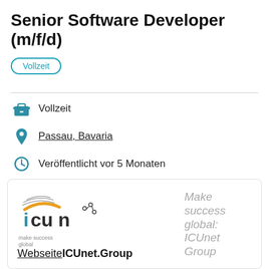Senior Software Developer (m/f/d)
Vollzeit
Vollzeit
Passau, Bavaria
Veröffentlicht vor 5 Monaten
[Figure (logo): ICUnet Group logo with tagline 'make success global' and website link 'WebseiteICUnet.Group' with italic text 'Make success global: ICUnet Group' on the right]